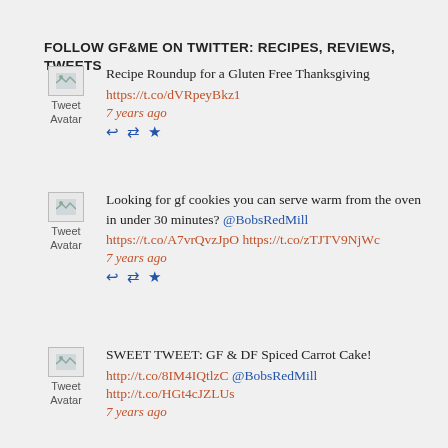FOLLOW GF&ME ON TWITTER: RECIPES, REVIEWS, TWEETS
[Figure (illustration): Tweet avatar placeholder image (broken image icon) with label 'Tweet Avatar']
Recipe Roundup for a Gluten Free Thanksgiving
https://t.co/dVRpeyBkz1
7 years ago
[Figure (illustration): Tweet avatar placeholder image (broken image icon) with label 'Tweet Avatar']
Looking for gf cookies you can serve warm from the oven in under 30 minutes? @BobsRedMill https://t.co/A7vrQvzJpO https://t.co/zTJTV9NjWc
7 years ago
[Figure (illustration): Tweet avatar placeholder image (broken image icon) with label 'Tweet Avatar']
SWEET TWEET: GF & DF Spiced Carrot Cake! http://t.co/8IM4IQtlzC @BobsRedMill http://t.co/HGt4cJZLUs
7 years ago